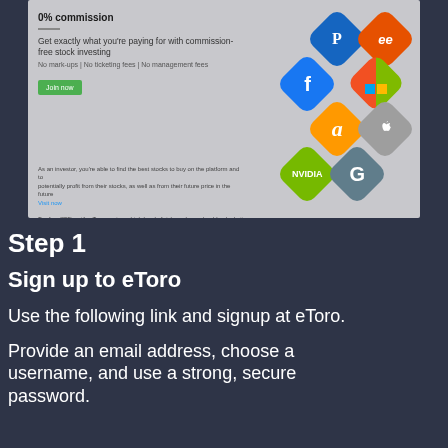[Figure (screenshot): Screenshot of eToro commission-free stock investing advertisement with company logos (PayPal, Facebook, Amazon, Microsoft, Apple, Nvidia, Google) arranged as rotated tiles on the right side]
Step 1
Sign up to eToro
Use the following link and signup at eToro.
Provide an email address, choose a username, and use a strong, secure password.